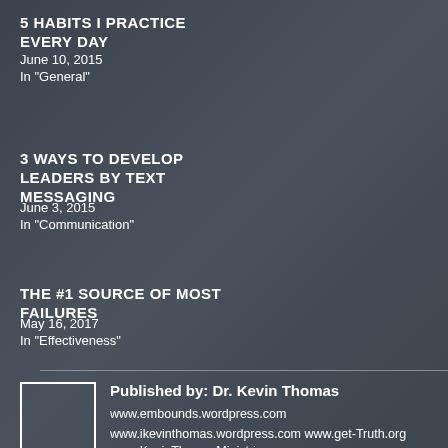5 HABITS I PRACTICE EVERY DAY
June 10, 2015
In "General"
3 WAYS TO DEVELOP LEADERS BY TEXT MESSAGING
June 3, 2015
In "Communication"
THE #1 SOURCE OF MOST FAILURES
May 16, 2017
In "Effectiveness"
Published by: Dr. Kevin Thomas
www.embounds.wordpress.com
www.ikevinthomas.wordpress.com www.get-Truth.org www.KevinThomasMinistries.org